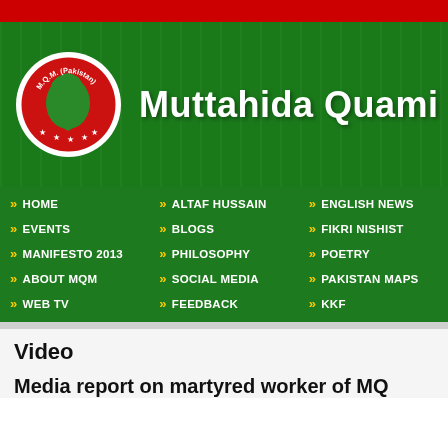[Figure (logo): MQM (Pakistan) website screenshot with red top bar, green header banner with MQM logo circle and Muttahida Quami M... title, green navigation menu, and content area]
Muttahida Quami M
HOME
EVENTS
MANIFESTO 2013
ABOUT MQM
WEB TV
ALTAF HUSSAIN
BLOGS
PHILOSOPHY
SOCIAL MEDIA
FEEDBACK
ENGLISH NEWS
FIKRI NISHIST
POETRY
PAKISTAN MAPS
KKF
Video
Media report on martyred worker of MQ